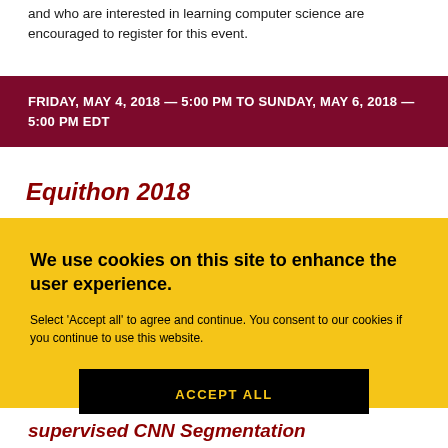and who are interested in learning computer science are encouraged to register for this event.
FRIDAY, MAY 4, 2018 — 5:00 PM TO SUNDAY, MAY 6, 2018 — 5:00 PM EDT
Equithon 2018
We use cookies on this site to enhance the user experience.
Select 'Accept all' to agree and continue. You consent to our cookies if you continue to use this website.
ACCEPT ALL
supervised CNN Segmentation